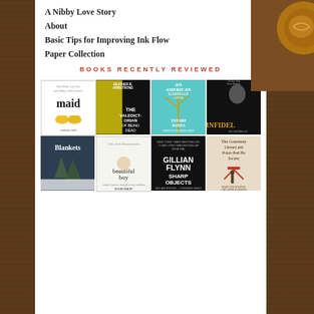A Nibby Love Story
About
Basic Tips for Improving Ink Flow
Paper Collection
BOOKS RECENTLY REVIEWED
[Figure (photo): Grid of 8 book covers: maid by stephanie land, The Valedictorian of Being Dead by Heather B. Armstrong, An American Marriage by Tayari Jones, Infidel by Ayaan Hirsi Ali, Blankets, Beautiful Boy by David Sheff, Sharp Objects by Gillian Flynn, The Guernsey Literary and Potato Peel Pie Society by Mary Ann Shaffer and Annie Barrows]